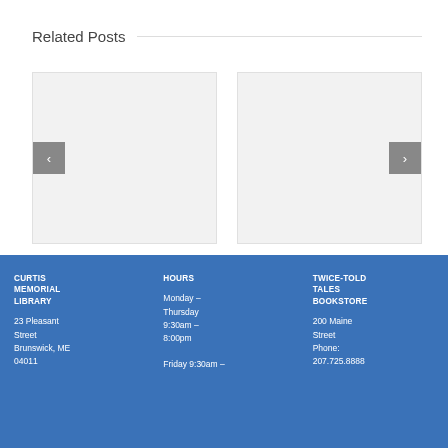Related Posts
[Figure (other): Left placeholder image card with left navigation arrow button]
[Figure (other): Right placeholder image card with right navigation arrow button]
CURTIS MEMORIAL LIBRARY

23 Pleasant Street
Brunswick, ME
04011
HOURS

Monday – Thursday
9:30am – 8:00pm

Friday 9:30am –
TWICE-TOLD TALES BOOKSTORE

200 Maine Street
Phone:
207.725.8888